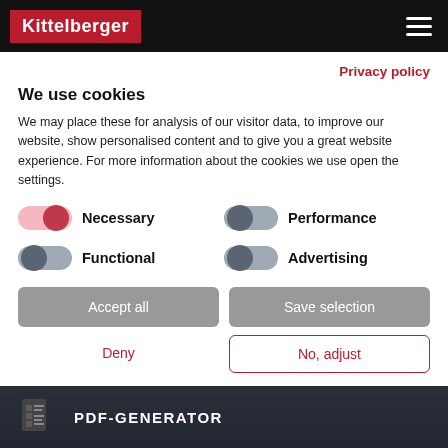Kittelberger
Privacy policy
We use cookies
We may place these for analysis of our visitor data, to improve our website, show personalised content and to give you a great website experience. For more information about the cookies we use open the settings.
Necessary
Performance
Functional
Advertising
Accept all
Save selection
Deny
No, adjust
[Figure (screenshot): Bottom portion showing PDF-GENERATOR text on dark background]